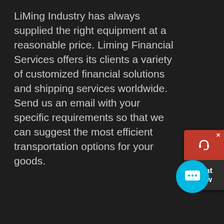LiMing Industry has always supplied the right equipment at a reasonable price. Liming Financial Services offers its clients a variety of customized financial solutions and shipping services worldwide. Send us an email with your specific requirements so that we can suggest the most efficient transportation options for your goods.
[Figure (illustration): Three orange/yellow square boxes side by side]
[Figure (illustration): Chat widget overlay in top-right corner with red background and headset icon, label 'Chat Now']
[Figure (illustration): Blue circular chat button with ellipsis/speech bubble icon in lower right]
LINKS
Home
about Us